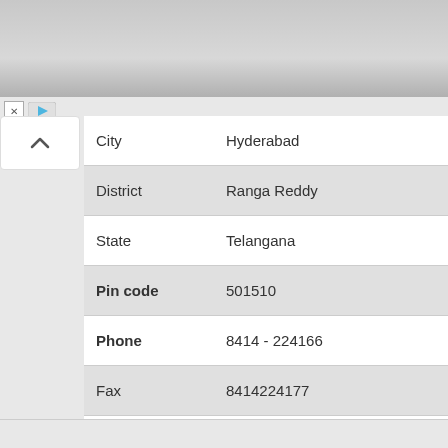[Figure (photo): Men's Wearhouse advertisement banner showing a couple in formal wear and a solo male figure in a tuxedo, with 'New Lower Prices' tagline and a VIEW button]
| City | Hyderabad |
| District | Ranga Reddy |
| State | Telangana |
| Pin code | 501510 |
| Phone | 8414 - 224166 |
| Fax | 8414224177 |
| Website | http://www.sriindugroup.org |
| Email Id | induprincipal@gmail.com |